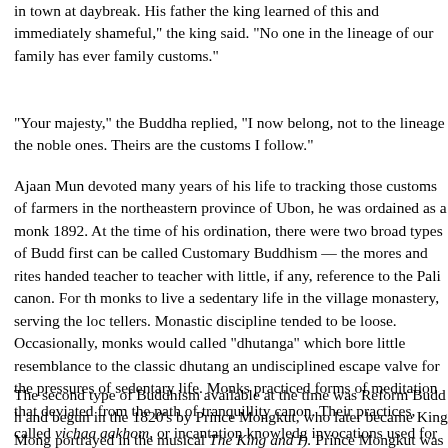in town at daybreak. His father the king learned of this and immediately... shameful," the king said. "No one in the lineage of our family has ever... family customs."
"Your majesty," the Buddha replied, "I now belong, not to the lineage... the noble ones. Theirs are the customs I follow."
Ajaan Mun devoted many years of his life to tracking those customs... farmers in the northeastern province of Ubon, he was ordained as a m... 1892. At the time of his ordination, there were two broad types of Bud... first can be called Customary Buddhism — the mores and rites handed... teacher to teacher with little, if any, reference to the Pali canon. For th... monks to live a sedentary life in the village monastery, serving the loc... tellers. Monastic discipline tended to be loose. Occasionally, monks w... called "dhutanga" which bore little resemblance to the classic dhutang... an undisciplined escape valve for the pressures of sedentary life. Mo... practiced forms of meditation that deviated from the path of tranquillit... canon. Their practices, called vichaa aakhom, or incantation knowled... invocations used for shamanistic purposes, such as protective charm... mentioned nirvana except as an entity to be invoked for shamanic rite...
The second type of Buddhism available at the time was Reform Budd... and begun in the 1820's by Prince Mongkut, who later became King R... portrayed in the musical The King and I). Prince Mongkut was ordaine... ...before ascending the throne. After taking the monkhood, he discove...